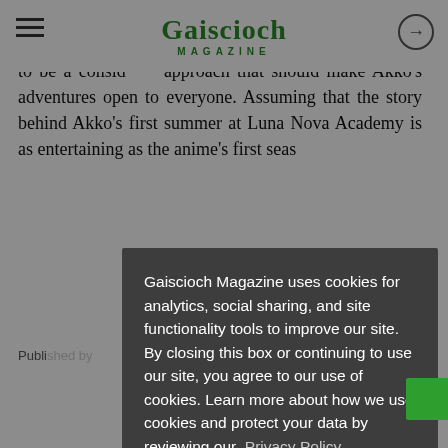Gaiscioch Magazine
Little Witch Academia: Chamber of Time is not mechanically revolutionary than feel show this seems to be a considered approach that should make Akko’s adventures open to everyone. Assuming that the story behind Akko’s first summer at Luna Nova Academy is as entertaining as the anime’s first seas[on, this should be one of the best games of] the b[acklog]
Publish[ed by]
[Figure (screenshot): Cookie consent modal overlay on Gaiscioch Magazine website. Dark gray modal with white text reading: 'Gaiscioch Magazine uses cookies for analytics, social sharing, and site functionality tools to improve our site. By closing this box or continuing to use our site, you agree to our use of cookies. Learn more about how we use cookies and protect your data by reviewing our Privacy Policy' with a green 'I Accept' button below.]
Edward "Screenager" Orr